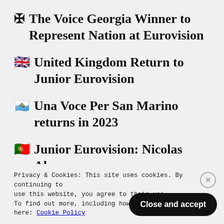🇬🇪 The Voice Georgia Winner to Represent Nation at Eurovision
🇬🇧 United Kingdom Return to Junior Eurovision
🇸🇲 Una Voce Per San Marino returns in 2023
🇵🇹 Junior Eurovision: Nicolas Alves
Privacy & Cookies: This site uses cookies. By continuing to use this website, you agree to their use. To find out more, including how to control cookies, see here: Cookie Policy
Close and accept